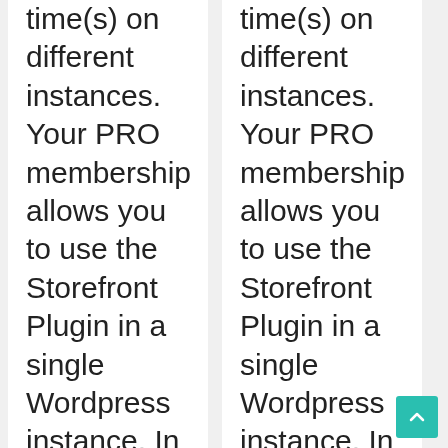time(s) on different instances. Your PRO membership allows you to use the Storefront Plugin in a single Wordpress instance. In case you require more installations on multiple instances, kindly purchase a Multi-Installation license from your CBProAds.com members area
time(s) on different instances. Your PRO membership allows you to use the Storefront Plugin in a single Wordpress instance. In case you require more installations on multiple instances, kindly purchase a Multi-Installation license from your CBProAds.com members area